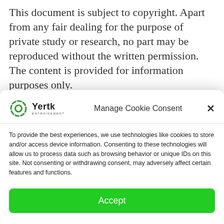This document is subject to copyright. Apart from any fair dealing for the purpose of private study or research, no part may be reproduced without the written permission. The content is provided for information purposes only.
[Figure (screenshot): Cookie consent modal popup with Yertk logo, 'Manage Cookie Consent' title, a close button (×), body text about cookies and technologies, and a green 'Accept' button.]